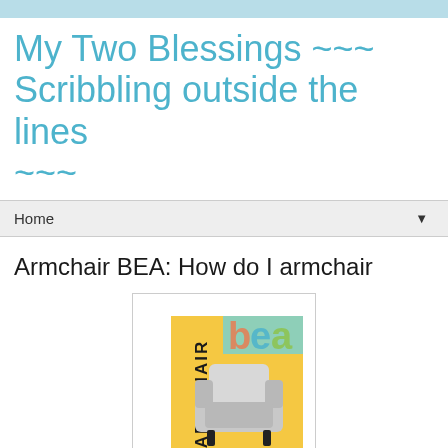My Two Blessings ~~~ Scribbling outside the lines ~~~
Home
Armchair BEA: How do I armchair
[Figure (logo): Armchair BEA logo featuring the text ARMCHAIR vertically on the left, colorful BEA letters, and a grey armchair on a yellow background. URL: www.armchairbea.com]